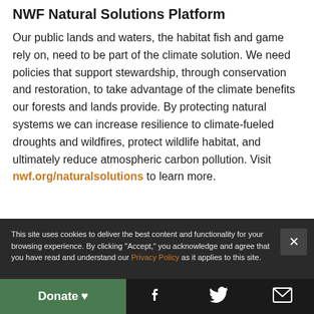NWF Natural Solutions Platform
Our public lands and waters, the habitat fish and game rely on, need to be part of the climate solution. We need policies that support stewardship, through conservation and restoration, to take advantage of the climate benefits our forests and lands provide. By protecting natural systems we can increase resilience to climate-fueled droughts and wildfires, protect wildlife habitat, and ultimately reduce atmospheric carbon pollution. Visit nwf.org/naturalsolutions to learn more.
This site uses cookies to deliver the best content and functionality for your browsing experience. By clicking "Accept," you acknowledge and agree that you have read and understand our Privacy Policy as it applies to this site.
Accept
Donate ♥  [Facebook] [Twitter] [Email]